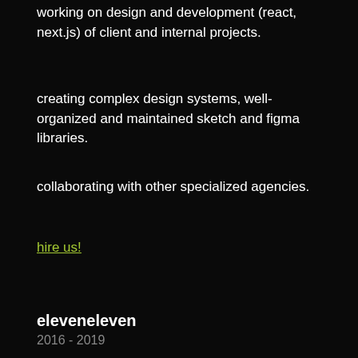working on design and development (react, next.js) of client and internal projects.
creating complex design systems, well-organized and maintained sketch and figma libraries.
collaborating with other specialized agencies.
hire us!
eleveneleven
2016 - 2019
designer, frontend developer
created landing pages and websites from the very first sketch to fully working production version.